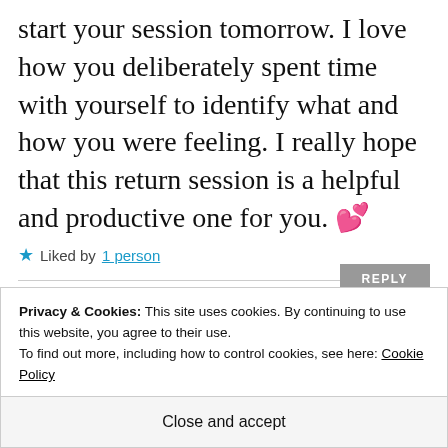start your session tomorrow. I love how you deliberately spent time with yourself to identify what and how you were feeling. I really hope that this return session is a helpful and productive one for you. 💕
★ Liked by 1 person
REPLY
[Figure (illustration): Circular avatar with plant/floral image and a small outline circle beside it]
Privacy & Cookies: This site uses cookies. By continuing to use this website, you agree to their use.
To find out more, including how to control cookies, see here: Cookie Policy
Close and accept
easier than I thought it might be. I